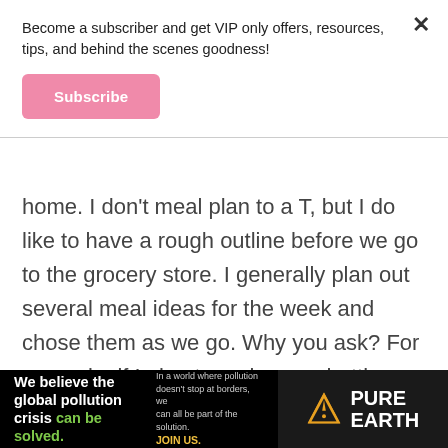Become a subscriber and get VIP only offers, resources, tips, and behind the scenes goodness!
Subscribe
home. I don’t meal plan to a T, but I do like to have a rough outline before we go to the grocery store. I generally plan out several meal ideas for the week and chose them as we go. Why you ask? For example, if I plan to make spaghetti squash pizza on Tuesday, I may not want it Tuesday. I may want salmon on
[Figure (infographic): Pure Earth advertisement banner: black background with text 'We believe the global pollution crisis can be solved.' on the left, small text 'In a world where pollution doesn’t stop at borders, we can all be part of the solution. JOIN US.' in the center, and Pure Earth logo (diamond warning sign icon) with 'PURE EARTH' text on the right.]